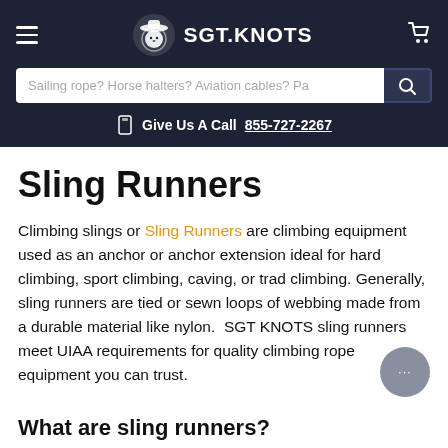SGT.KNOTS — navigation header with search bar and phone number
Sling Runners
Climbing slings or Sling Runners are climbing equipment used as an anchor or anchor extension ideal for hard climbing, sport climbing, caving, or trad climbing. Generally, sling runners are tied or sewn loops of webbing made from a durable material like nylon. SGT KNOTS sling runners meet UIAA requirements for quality climbing rope equipment you can trust.
What are sling runners?